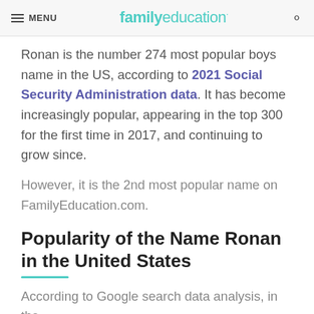MENU | familyeducation
Ronan is the number 274 most popular boys name in the US, according to 2021 Social Security Administration data. It has become increasingly popular, appearing in the top 300 for the first time in 2017, and continuing to grow since.
However, it is the 2nd most popular name on FamilyEducation.com.
Popularity of the Name Ronan in the United States
According to Google search data analysis, in the last five years, Ronan was at its peak popularity it